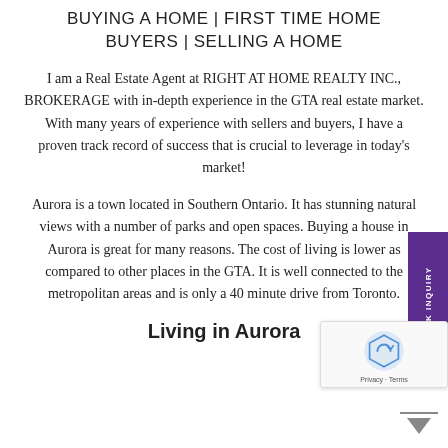BUYING A HOME | FIRST TIME HOME BUYERS | SELLING A HOME
I am a Real Estate Agent at RIGHT AT HOME REALTY INC., BROKERAGE with in-depth experience in the GTA real estate market. With many years of experience with sellers and buyers, I have a proven track record of success that is crucial to leverage in today’s market!
Aurora is a town located in Southern Ontario. It has stunning natural views with a number of parks and open spaces. Buying a house in Aurora is great for many reasons. The cost of living is lower as compared to other places in the GTA. It is well connected to the metropolitan areas and is only a 40 minute drive from Toronto.
Living in Aurora